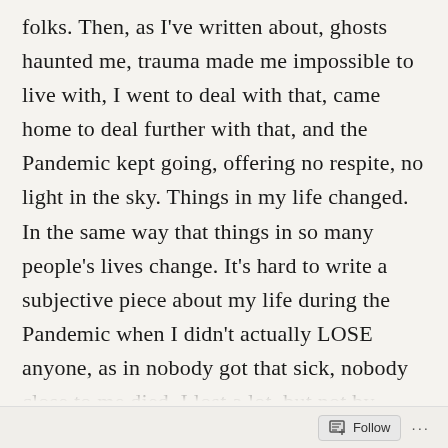folks. Then, as I've written about, ghosts haunted me, trauma made me impossible to live with, I went to deal with that, came home to deal further with that, and the Pandemic kept going, offering no respite, no light in the sky. Things in my life changed. In the same way that things in so many people's lives change. It's hard to write a subjective piece about my life during the Pandemic when I didn't actually LOSE anyone, as in nobody got that sick, nobody close to me died. I lost a lot, but not by illness or death. And I won't count my blessings because I do know people who really lost people. I'm one of the lucky ones. I haven't even gotten
Follow ···